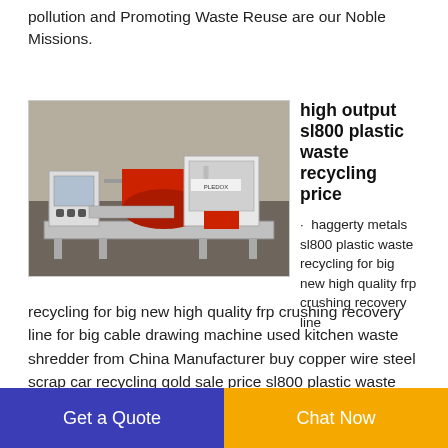Recycling Equipment. Protecting the Environment. Reducing pollution and Promoting Waste Reuse are our Noble Missions.
[Figure (photo): Industrial plastic waste recycling machine (sl800) in a warehouse setting, white and red machinery on a platform]
high output sl800 plastic waste recycling price
· haggerty metals sl800 plastic waste recycling for big new high quality frp crushing recovery line for big cable drawing machine used kitchen waste shredder from China Manufacturer buy copper wire steel scrap car recycling gold sale price sl800 plastic waste recycling from Gold manufacturer Industrial machine High automation
recycling for big new high quality frp crushing recovery line for big cable drawing machine used kitchen waste shredder from China Manufacturer buy copper wire steel scrap car recycling gold sale price sl800 plastic waste recycling from Gold manufacturer Industrial machine High automation
Get a Quote  Chat Now